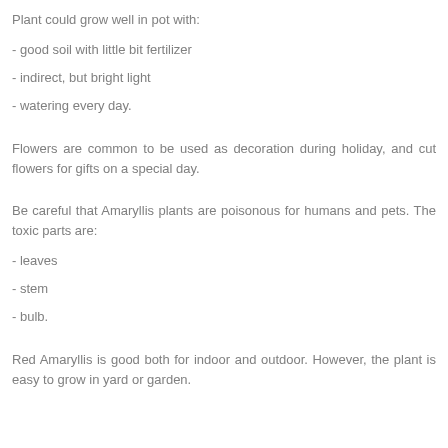Plant could grow well in pot with:
- good soil with little bit fertilizer
- indirect, but bright light
- watering every day.
Flowers are common to be used as decoration during holiday, and cut flowers for gifts on a special day.
Be careful that Amaryllis plants are poisonous for humans and pets. The toxic parts are:
- leaves
- stem
- bulb.
Red Amaryllis is good both for indoor and outdoor. However, the plant is easy to grow in yard or garden.